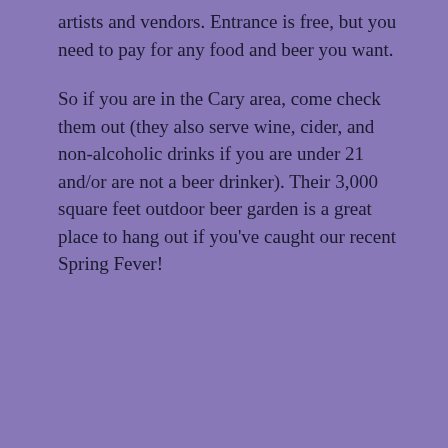artists and vendors.  Entrance is free, but you need to pay for any food and beer you want.
So if you are in the Cary area, come check them out (they also serve wine, cider, and non-alcoholic drinks if you are under 21 and/or are not a beer drinker).  Their 3,000 square feet outdoor beer garden is a great place to hang out if you've caught our recent Spring Fever!